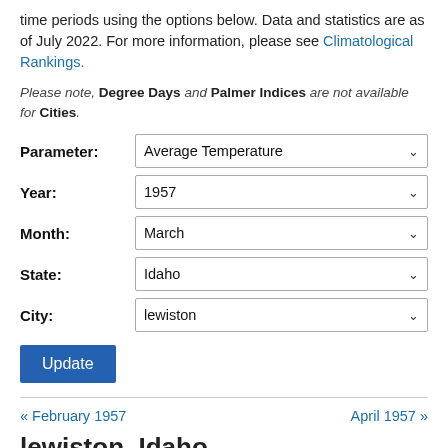time periods using the options below. Data and statistics are as of July 2022. For more information, please see Climatological Rankings.
Please note, Degree Days and Palmer Indices are not available for Cities.
Parameter: Average Temperature
Year: 1957
Month: March
State: Idaho
City: lewiston
[Update button]
« February 1957    April 1957 »
lewiston, Idaho
Average Temperature Rankings, March 1957